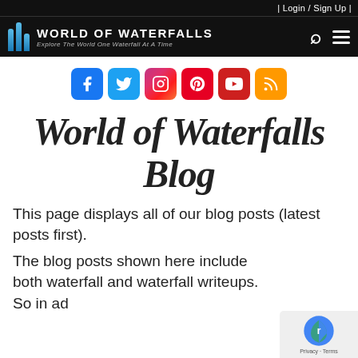| Login / Sign Up |
[Figure (logo): World of Waterfalls logo with three blue vertical bars and text 'WORLD OF WATERFALLS / Explore The World One Waterfall At A Time' on black background, with search and menu icons]
[Figure (infographic): Social media icons row: Facebook, Twitter, Instagram, Pinterest, YouTube, RSS]
World of Waterfalls Blog
This page displays all of our blog posts (latest posts first).
The blog posts shown here include both waterfall and waterfall writeups.  So in ad... to receive in the waterfall... the article/...